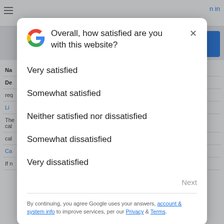[Figure (screenshot): Google survey dialog overlay asking 'Overall, how satisfied are you with this website?' with five options: Very satisfied, Somewhat satisfied, Neither satisfied nor dissatisfied, Somewhat dissatisfied, Very dissatisfied. Also includes a Next button, and a footer with links to account & system info, Privacy, and Terms.]
Overall, how satisfied are you with this website?
Very satisfied
Somewhat satisfied
Neither satisfied nor dissatisfied
Somewhat dissatisfied
Very dissatisfied
By continuing, you agree Google uses your answers, account & system info to improve services, per our Privacy & Terms.